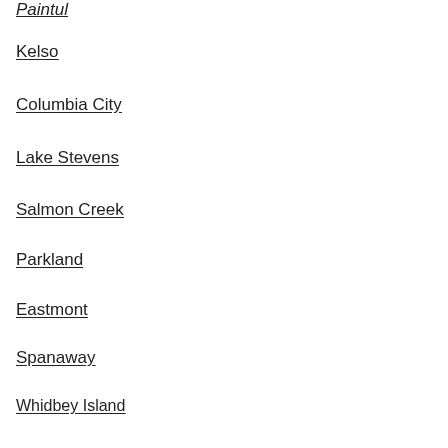Paintul
Kelso
Columbia City
Lake Stevens
Salmon Creek
Parkland
Eastmont
Spanaway
Whidbey Island
Covington
Bothell East